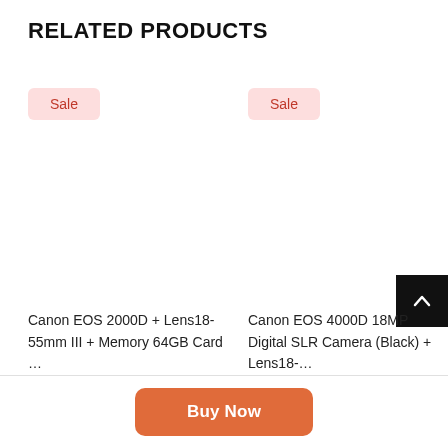RELATED PRODUCTS
Sale
Sale
Canon EOS 2000D + Lens18-55mm III + Memory 64GB Card …
$650.00  $499.00
Canon EOS 4000D 18MP Digital SLR Camera (Black) + Lens18-…
$550.00  $450.00
Buy Now